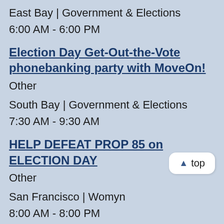East Bay | Government & Elections
6:00 AM - 6:00 PM
Election Day Get-Out-the-Vote phonebanking party with MoveOn!
Other
South Bay | Government & Elections
7:30 AM - 9:30 AM
HELP DEFEAT PROP 85 on ELECTION DAY
Other
San Francisco | Womyn
8:00 AM - 8:00 PM